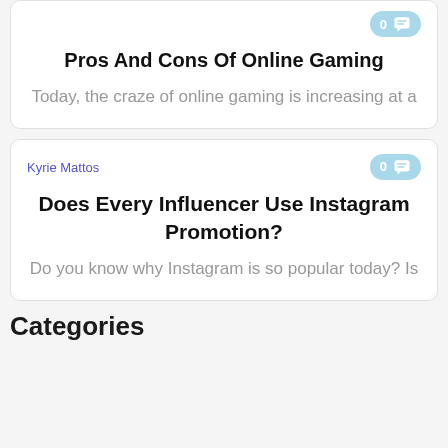Pros And Cons Of Online Gaming
Today, the craze of online gaming is increasing at a
Kyrie Mattos
Does Every Influencer Use Instagram Promotion?
Do you know why Instagram is so popular today? Is
Categories